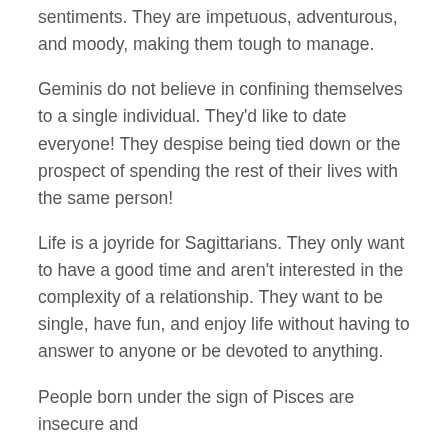sentiments. They are impetuous, adventurous, and moody, making them tough to manage.
Geminis do not believe in confining themselves to a single individual. They'd like to date everyone! They despise being tied down or the prospect of spending the rest of their lives with the same person!
Life is a joyride for Sagittarians. They only want to have a good time and aren't interested in the complexity of a relationship. They want to be single, have fun, and enjoy life without having to answer to anyone or be devoted to anything.
People born under the sign of Pisces are insecure and